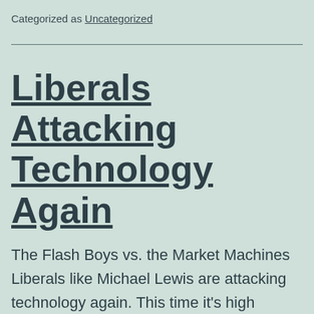Categorized as Uncategorized
Liberals Attacking Technology Again
The Flash Boys vs. the Market Machines Liberals like Michael Lewis are attacking technology again. This time it's high frequency trading. HFT has more positives than